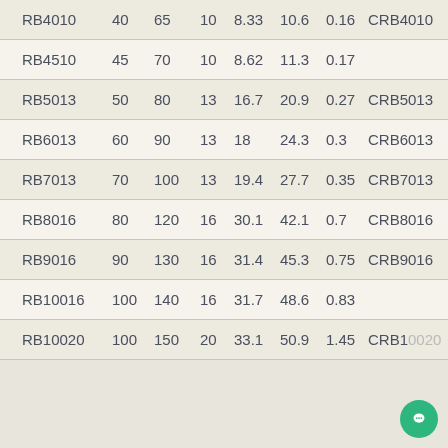| RB4010 | 40 | 65 | 10 | 8.33 | 10.6 | 0.16 | CRB4010 |
| RB4510 | 45 | 70 | 10 | 8.62 | 11.3 | 0.17 |  |
| RB5013 | 50 | 80 | 13 | 16.7 | 20.9 | 0.27 | CRB5013 |
| RB6013 | 60 | 90 | 13 | 18 | 24.3 | 0.3 | CRB6013 |
| RB7013 | 70 | 100 | 13 | 19.4 | 27.7 | 0.35 | CRB7013 |
| RB8016 | 80 | 120 | 16 | 30.1 | 42.1 | 0.7 | CRB8016 |
| RB9016 | 90 | 130 | 16 | 31.4 | 45.3 | 0.75 | CRB9016 |
| RB10016 | 100 | 140 | 16 | 31.7 | 48.6 | 0.83 |  |
| RB10020 | 100 | 150 | 20 | 33.1 | 50.9 | 1.45 | CRB10020 |